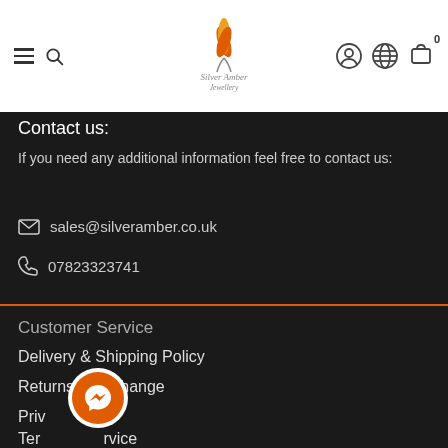SilverAmber Jewellery — navigation header with hamburger, search, logo, account, language, and cart icons
Contact us:
If you need any additional information feel free to contact us:
✉ sales@silveramber.co.uk
📞 07823323741
Customer Service
Delivery & Shipping Policy
Returns & Exchange
Privacy Policy
Terms of Service